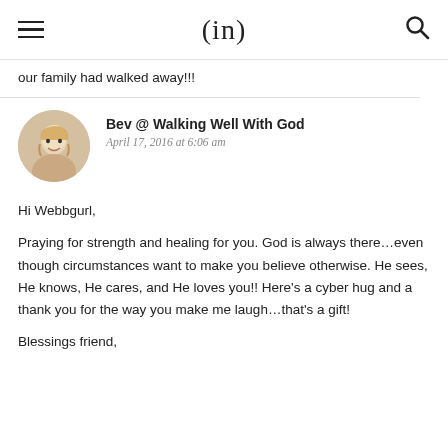(in)
our family had walked away!!!
Bev @ Walking Well With God
April 17, 2016 at 6:06 am
Hi Webbgurl,
Praying for strength and healing for you. God is always there...even though circumstances want to make you believe otherwise. He sees, He knows, He cares, and He loves you!! Here’s a cyber hug and a thank you for the way you make me laugh...that’s a gift!
Blessings friend,